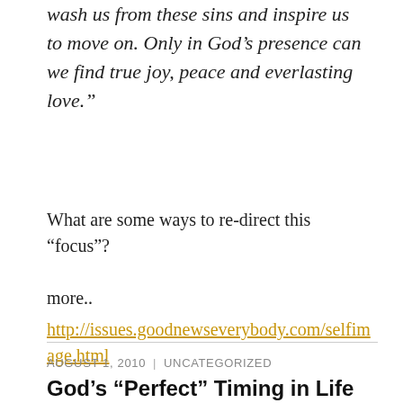wash us from these sins and inspire us to move on. Only in God’s presence can we find true joy, peace and everlasting love.”
What are some ways to re-direct this “focus”?
more..
http://issues.goodnewseverybody.com/selfimage.html
AUGUST 1, 2010  |  UNCATEGORIZED
God’s “Perfect” Timing in Life